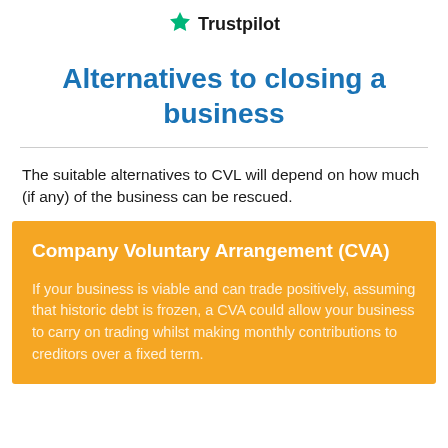[Figure (logo): Trustpilot logo with green star and Trustpilot text]
Alternatives to closing a business
The suitable alternatives to CVL will depend on how much (if any) of the business can be rescued.
Company Voluntary Arrangement (CVA)
If your business is viable and can trade positively, assuming that historic debt is frozen, a CVA could allow your business to carry on trading whilst making monthly contributions to creditors over a fixed term.